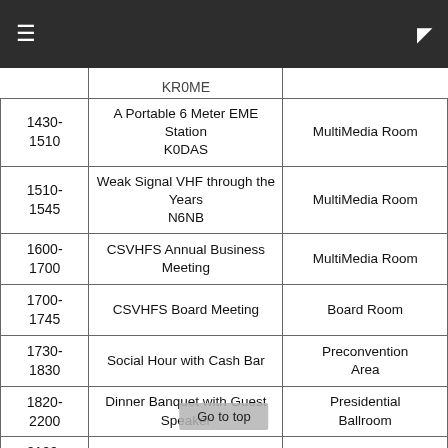≡  □
| Time | Event | Location |
| --- | --- | --- |
| 1430-1510 | A Portable 6 Meter EME Station K0DAS | MultiMedia Room |
| 1510-1545 | Weak Signal VHF through the Years N6NB | MultiMedia Room |
| 1600-1700 | CSVHFS Annual Business Meeting | MultiMedia Room |
| 1700-1745 | CSVHFS Board Meeting | Board Room |
| 1730-1830 | Social Hour with Cash Bar | Preconvention Area |
| 1820-2200 | Dinner Banquet with Guest Speaker | Presidential Ballroom |
| 2100-"Tried" | Hospitality Suite | TBD |